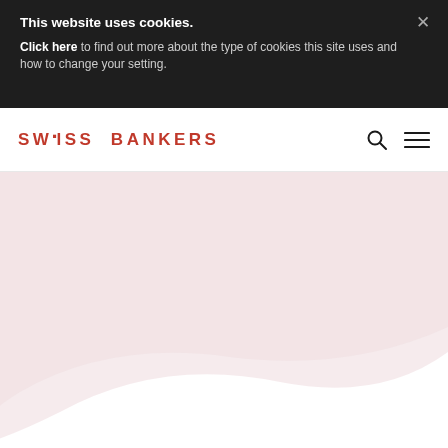This website uses cookies.
Click here to find out more about the type of cookies this site uses and how to change your setting.
[Figure (logo): Swiss Bankers logo in red with navigation icons (search and hamburger menu)]
[Figure (illustration): Light pink wave/curve decorative background shape on white background]